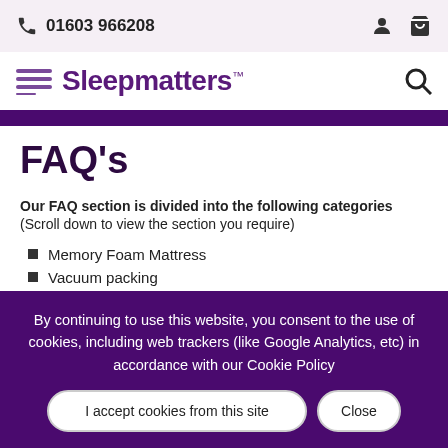01603 966208
Sleepmatters™
FAQ's
Our FAQ section is divided into the following categories (Scroll down to view the section you require)
Memory Foam Mattress
Vacuum packing
By continuing to use this website, you consent to the use of cookies, including web trackers (like Google Analytics, etc) in accordance with our Cookie Policy
I accept cookies from this site
Close